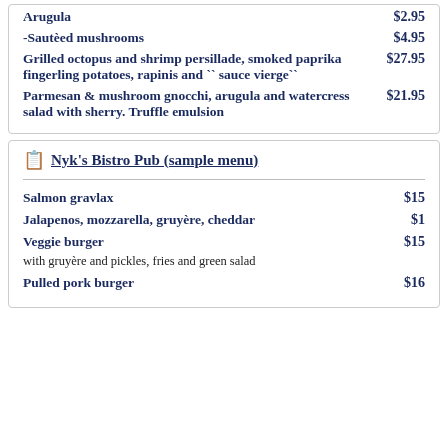Arugula $2.95
-Sautèed mushrooms $4.95
Grilled octopus and shrimp persillade, smoked paprika fingerling potatoes, rapinis and `` sauce vierge`` $27.95
Parmesan & mushroom gnocchi, arugula and watercress salad with sherry. Truffle emulsion $21.95
Nyk's Bistro Pub (sample menu)
Salmon gravlax $15
Jalapenos, mozzarella, gruyère, cheddar $1
Veggie burger $15
with gruyère and pickles, fries and green salad
Pulled pork burger $16